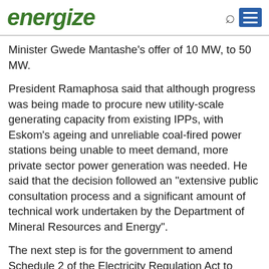energize
Minister Gwede Mantashe's offer of 10 MW, to 50 MW.
President Ramaphosa said that although progress was being made to procure new utility-scale generating capacity from existing IPPs, with Eskom's ageing and unreliable coal-fired power stations being unable to meet demand, more private sector power generation was needed. He said that the decision followed an "extensive public consultation process and a significant amount of technical work undertaken by the Department of Mineral Resources and Energy".
The next step is for the government to amend Schedule 2 of the Electricity Regulation Act to increase Nersa's licensing threshold for embedded generation projects from 1 MW to 100 MW.
This dramatic decision is likely to result in a significant investment in new generation capacity in the short and